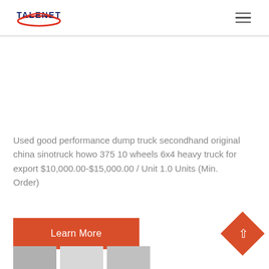TALENET
Used good performance dump truck secondhand original china sinotruck howo 375 10 wheels 6x4 heavy truck for export $10,000.00-$15,000.00 / Unit 1.0 Units (Min. Order)
Learn More
[Figure (illustration): Thumbnail images of trucks at the bottom of the page]